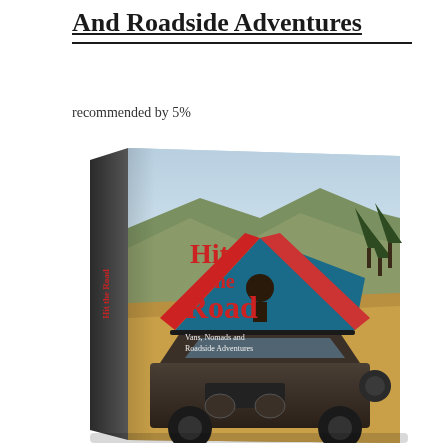And Roadside Adventures
recommended by 5%
[Figure (photo): Book cover photo of 'Hit the Road: Vans, Nomads and Roadside Adventures' showing a vintage VW van with a rooftop tent in a mountain landscape. The book is shown at an angle as a 3D perspective with the spine visible on the left side.]